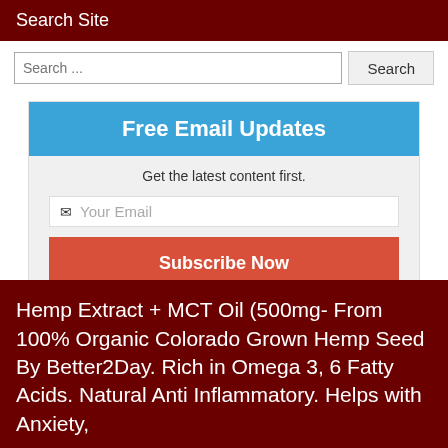Search Site
Search ...
Search
Free Email Updates
Get the latest content first.
Your Email
Subscribe Now
We respect your privacy.
Hemp Extract + MCT Oil (500mg- From 100% Organic Colorado Grown Hemp Seed By Better2Day. Rich in Omega 3, 6 Fatty Acids. Natural Anti Inflammatory. Helps with Anxiety,